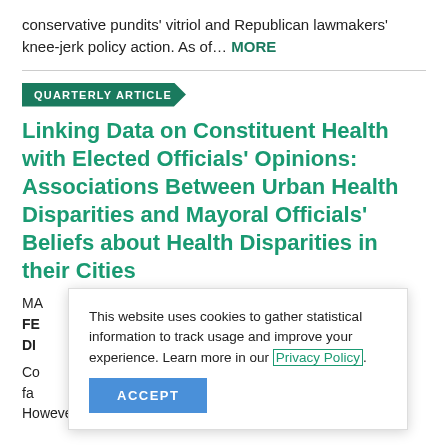conservative pundits' vitriol and Republican lawmakers' knee-jerk policy action. As of… MORE
QUARTERLY ARTICLE
Linking Data on Constituent Health with Elected Officials' Opinions: Associations Between Urban Health Disparities and Mayoral Officials' Beliefs about Health Disparities in their Cities
MA… FE… DI…
Co… fac… s. However, no studies… MORE
This website uses cookies to gather statistical information to track usage and improve your experience. Learn more in our Privacy Policy.